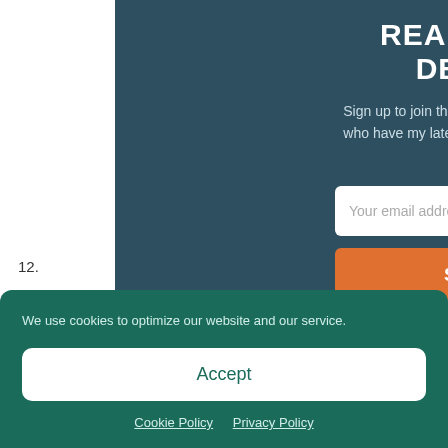READY TO GO DEEPER?
Sign up to join the tens of thousands of readers who have my latest articles sent directly to their inbox.
[Figure (screenshot): Email subscription form with input field labeled 'Your email address' and an orange 'Subscribe' button]
We use cookies to optimize our website and our service.
Accept
Cookie Policy   Privacy Policy